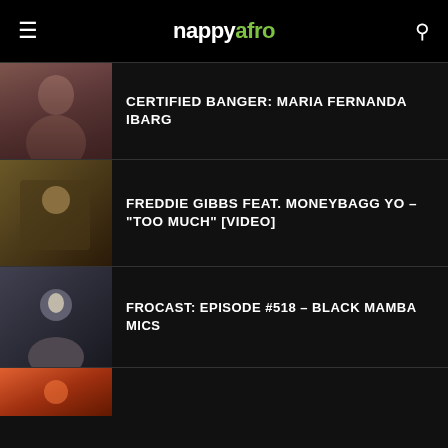nappyafro
[Figure (photo): Thumbnail photo of Maria Fernanda Ibarg]
CERTIFIED BANGER: MARIA FERNANDA IBARG
[Figure (photo): Thumbnail photo for Freddie Gibbs feat. MoneyBagg Yo Too Much video]
FREDDIE GIBBS FEAT. MONEYBAGG YO – "TOO MUCH" [VIDEO]
[Figure (photo): Thumbnail photo for Frocast Episode 518 Black Mamba Mics]
FROCAST: EPISODE #518 – BLACK MAMBA MICS
[Figure (photo): Partial thumbnail of fourth article]